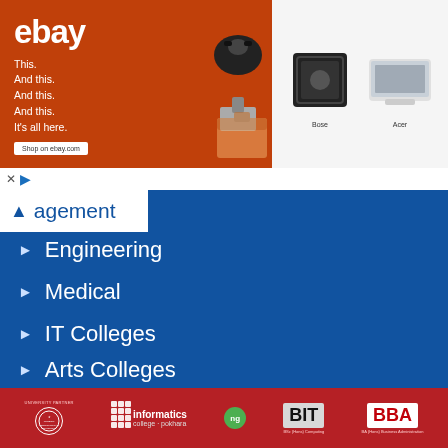[Figure (screenshot): eBay advertisement banner with orange background, eBay logo, 'This. And this. And this. And this. It's all here.' text, product images including headphones, tools, speaker, laptop]
agement (Management nav item, partially visible, with up chevron)
Engineering
Medical
IT Colleges
Education Colleges
Arts Colleges
LATEST UPDATES
Job Vacancy
Result
[Figure (logo): Footer bar with logos: London Metropolitan University (University Partner), Informatics College Pokhara, ng group badge, BIT (BSc (Hons) Computing), BBA (BA (Hons) Business Administration)]